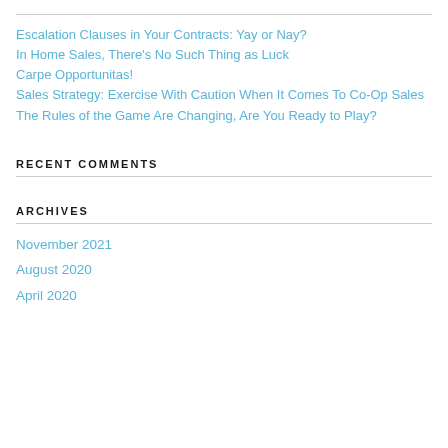Escalation Clauses in Your Contracts: Yay or Nay?
In Home Sales, There’s No Such Thing as Luck
Carpe Opportunitas!
Sales Strategy: Exercise With Caution When It Comes To Co-Op Sales
The Rules of the Game Are Changing, Are You Ready to Play?
RECENT COMMENTS
ARCHIVES
November 2021
August 2020
April 2020